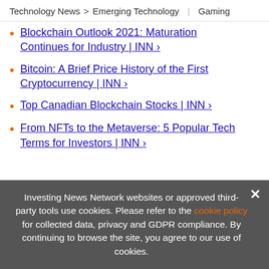Technology News > Emerging Technology | Gaming
Blockchain Outlook 2021: Maturation Continues for Industry | INN ›
Bitcoin: A Brief Price History of the First Cryptocurrency | INN ›
Top Canadian Blockchain Stocks | INN ›
From NFTs to the Metaverse: 5 Popular Tech Terms for Investors | INN ›
[Figure (infographic): Ad banner: EXCLUSIVE 2022 BLOCKCHAIN OUTLOOK. TRENDS. FORECASTS. TOP STOCKS with orange arrow button and orange vertical bar, book cover image on left.]
Detail | INN ›
Investing News Network websites or approved third-party tools use cookies. Please refer to the cookie policy for collected data, privacy and GDPR compliance. By continuing to browse the site, you agree to our use of cookies.